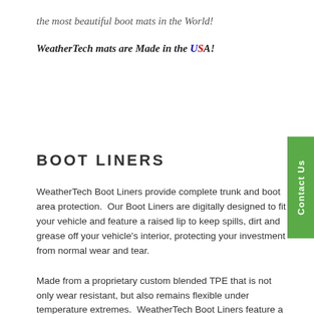the most beautiful boot mats in the World!
WeatherTech mats are Made in the USA!
BOOT LINERS
WeatherTech Boot Liners provide complete trunk and boot area protection.  Our Boot Liners are digitally designed to fit your vehicle and feature a raised lip to keep spills, dirt and grease off your vehicle's interior, protecting your investment from normal wear and tear.
Made from a proprietary custom blended TPE that is not only wear resistant, but also remains flexible under temperature extremes.  WeatherTech Boot Liners feature a